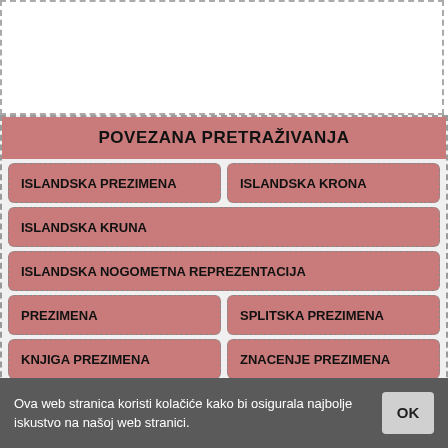POVEZANA PRETRAŽIVANJA
ISLANDSKA PREZIMENA
ISLANDSKA KRONA
ISLANDSKA KRUNA
ISLANDSKA NOGOMETNA REPREZENTACIJA
PREZIMENA
SPLITSKA PREZIMENA
KNJIGA PREZIMENA
ZNACENJE PREZIMENA
VLASI PREZIMENA
AMERIČKA PREZIMENA
Ova web stranica koristi kolačiće kako bi osigurala najbolje iskustvo na našoj web stranici.